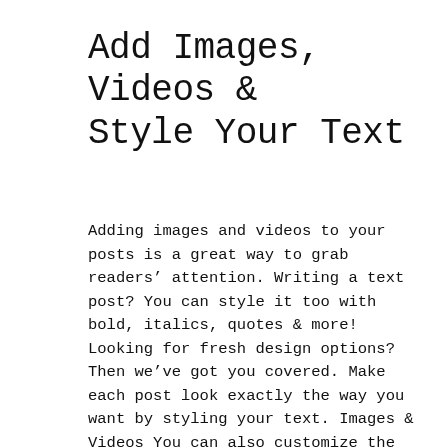Add Images, Videos & Style Your Text
Adding images and videos to your posts is a great way to grab readers' attention. Writing a text post? You can style it too with bold, italics, quotes & more! Looking for fresh design options? Then we've got you covered. Make each post look exactly the way you want by styling your text. Images & Videos You can also customize the look of your videos and images. Make them widescreen